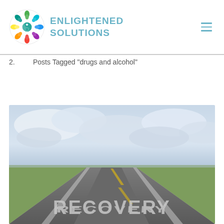Enlightened Solutions
2. Posts Tagged "drugs and alcohol"
[Figure (photo): A long straight road stretching to the horizon under a cloudy sky, with the word RECOVERY written in large bold letters on the road surface.]